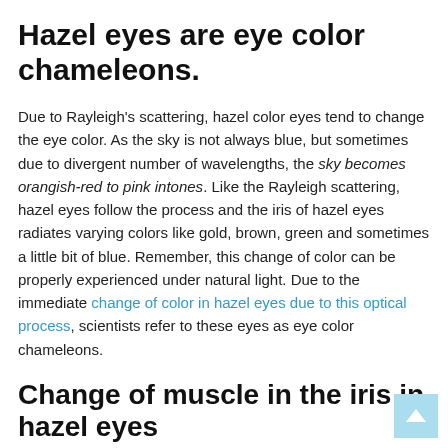Hazel eyes are eye color chameleons.
Due to Rayleigh's scattering, hazel color eyes tend to change the eye color. As the sky is not always blue, but sometimes due to divergent number of wavelengths, the sky becomes orangish-red to pink intones. Like the Rayleigh scattering, hazel eyes follow the process and the iris of hazel eyes radiates varying colors like gold, brown, green and sometimes a little bit of blue. Remember, this change of color can be properly experienced under natural light. Due to the immediate change of color in hazel eyes due to this optical process, scientists refer to these eyes as eye color chameleons.
Change of muscle in the iris in hazel eyes